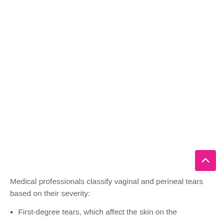Medical professionals classify vaginal and perineal tears based on their severity:
First-degree tears, which affect the skin on the